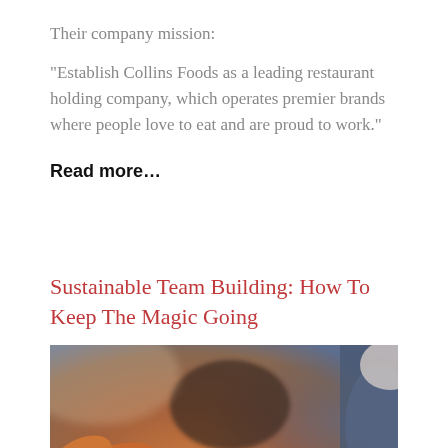Their company mission:
"Establish Collins Foods as a leading restaurant holding company, which operates premier brands where people love to eat and are proud to work."
Read more…
Sustainable Team Building: How To Keep The Magic Going
[Figure (photo): Group of people stacking hands together in a team gesture, warm-toned photo]